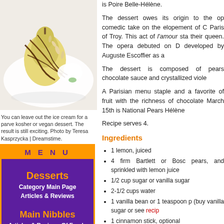[Figure (photo): Close-up photo of a pear dessert with chocolate drizzle and whipped cream on a white plate]
You can leave out the ice cream for a parve kosher or vegan dessert. The result is still exciting. Photo by Teresa Kasprzycka | Dreamstime.
MENU
Desserts
Category Main Page
Articles & Reviews
Main Nibbles
Articles & Reviews Of Foods From A To Z
Product Reviews
is Poire Belle-Hélène.
The dessert owes its origin to the o... comedic take on the elopement of C... Paris of Troy. This act of l'amour sta... their queen. The opera debuted on D... developed by Auguste Escoffier as a...
The dessert is composed of pears... chocolate sauce and crystallized viole...
A Parisian menu staple and a favorite... of fruit with the richness of chocolate... March 15th is National Pears Hélène...
Recipe serves 4.
Ingredients
1 lemon, juiced
4 firm Bartlett or Bosc pears, and sprinkled with lemon juice
1/2 cup sugar or vanilla sugar
2-1/2 cups water
1 vanilla bean or 1 teaspoon p (buy vanilla sugar or see recip...
1 cinnamon stick, optional
1-2 pints vanilla ice cream
1 cup chocolate sauce (make...